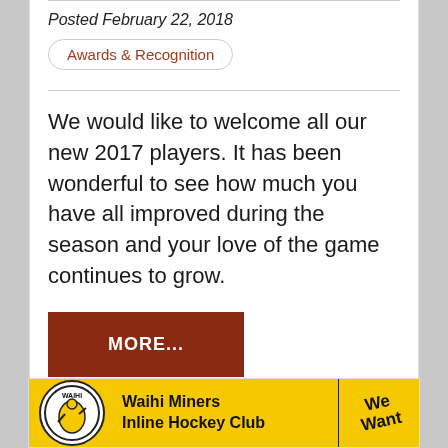Posted February 22, 2018
Awards & Recognition
We would like to welcome all our new 2017 players. It has been wonderful to see how much you have all improved during the season and your love of the game continues to grow.
MORE...
[Figure (logo): Waihi Miners Inline Hockey Club banner with yellow background, club logo on left, text in center, and 'We Want' graphic on right]